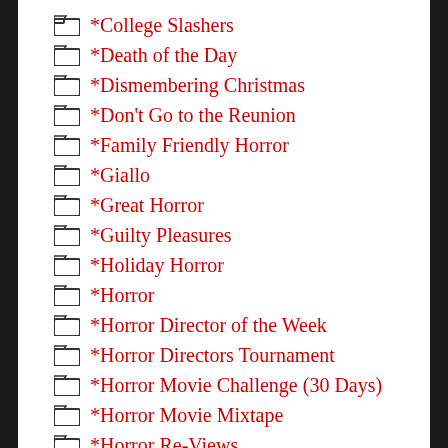*College Slashers
*Death of the Day
*Dismembering Christmas
*Don't Go to the Reunion
*Family Friendly Horror
*Giallo
*Great Horror
*Guilty Pleasures
*Holiday Horror
*Horror
*Horror Director of the Week
*Horror Directors Tournament
*Horror Movie Challenge (30 Days)
*Horror Movie Mixtape
*Horror Re-Views
*Indie H...